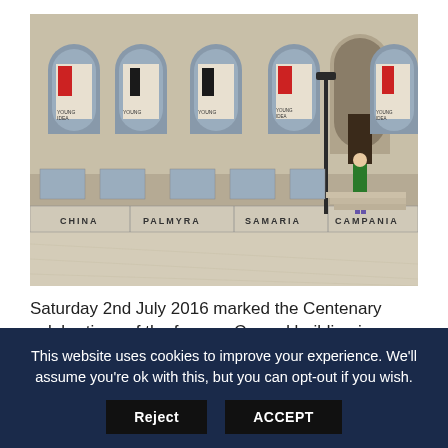[Figure (photo): Photograph of the Cunard building facade with arched windows displaying 'Young Idea' exhibition posters, and a stone plinth in the foreground labeled CHINA, PALMYRA, SAMARIA, CAMPANIA. A person in a green jacket stands near the entrance steps. Street lamps and pavement visible.]
Saturday 2nd July 2016 marked the Centenary celebrations of the famous Cunard building in
This website uses cookies to improve your experience. We'll assume you're ok with this, but you can opt-out if you wish.
Reject
ACCEPT